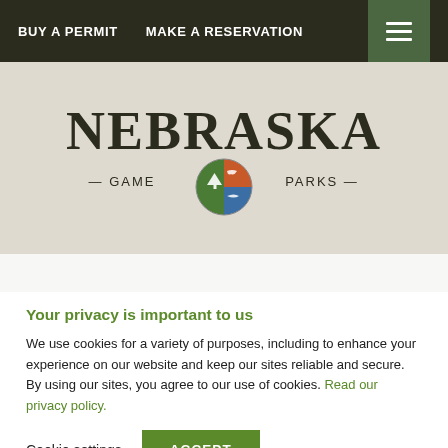BUY A PERMIT   MAKE A RESERVATION
[Figure (logo): Nebraska Game and Parks Commission logo — text 'NEBRASKA' in large serif letters above a circular emblem with tree, bird, and fish imagery, flanked by '— GAME' and 'PARKS —' text]
Your privacy is important to us
We use cookies for a variety of purposes, including to enhance your experience on our website and keep our sites reliable and secure. By using our sites, you agree to our use of cookies. Read our privacy policy.
Cookie settings   ACCEPT